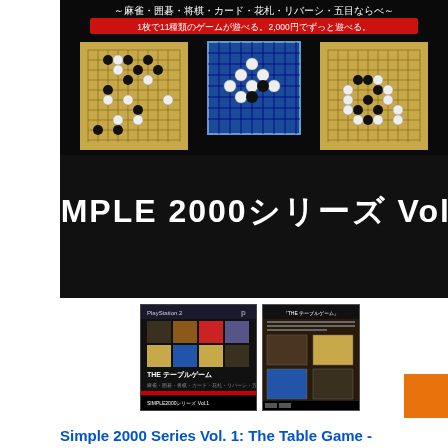[Figure (photo): SIMPLE 2000 Series Vol.1 game cover art showing mahjong, go, shogi, card, hanafuda, reversi, and gomoku board game images on black background with Japanese text]
[Figure (photo): PlayStation 2 game box front cover for SIMPLE 2000 Series Vol.1: THE Table Game]
[Figure (photo): PlayStation 2 game box back cover for SIMPLE 2000 Series Vol.1: THE Table Game]
Simple 2000 Series Vol. 1: The Table Game -